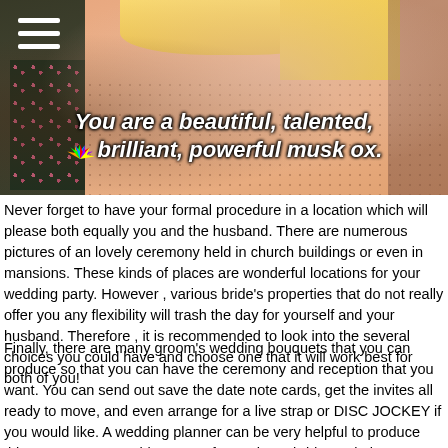[Figure (screenshot): Screenshot from a TV show (Parks and Recreation on NBC) showing a blonde woman with subtitle text reading: 'You are a beautiful, talented, brilliant, powerful musk ox.' There is a hamburger menu icon in the top left and an NBC peacock logo next to the subtitle.]
Never forget to have your formal procedure in a location which will please both equally you and the husband. There are numerous pictures of an lovely ceremony held in church buildings or even in mansions. These kinds of places are wonderful locations for your wedding party. However , various bride's properties that do not really offer you any flexibility will trash the day for yourself and your husband. Therefore , it is recommended to look into the several choices you could have and choose one that it will work best for both of you!
Finally, there are many groom's wedding bouquets that you can produce so that you can have the ceremony and reception that you want. You can send out save the date note cards, get the invites all ready to move, and even arrange for a live strap or DISC JOCKEY if you would like. A wedding planner can be very helpful to produce things operate smoothly. Do not forget that a bride marital relationship can be probably the most